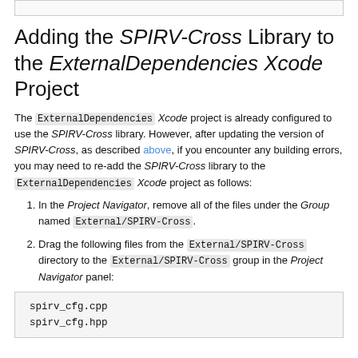Adding the SPIRV-Cross Library to the ExternalDependencies Xcode Project
The ExternalDependencies Xcode project is already configured to use the SPIRV-Cross library. However, after updating the version of SPIRV-Cross, as described above, if you encounter any building errors, you may need to re-add the SPIRV-Cross library to the ExternalDependencies Xcode project as follows:
In the Project Navigator, remove all of the files under the Group named External/SPIRV-Cross.
Drag the following files from the External/SPIRV-Cross directory to the External/SPIRV-Cross group in the Project Navigator panel:
spirv_cfg.cpp
spirv_cfg.hpp